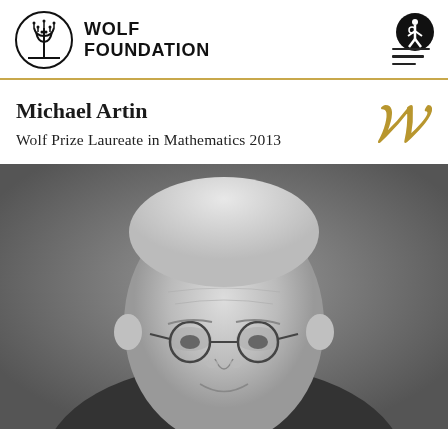[Figure (logo): Wolf Foundation logo: menorah symbol in circle with bold text WOLF FOUNDATION]
[Figure (logo): Wolf Foundation decorative gold W script logo]
Michael Artin
Wolf Prize Laureate in Mathematics 2013
[Figure (photo): Black and white portrait photograph of Michael Artin, an elderly man with white hair and round glasses, looking forward]